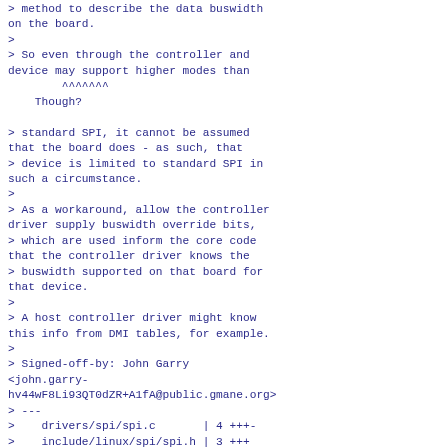> method to describe the data buswidth
on the board.
>
> So even through the controller and
device may support higher modes than
        ^^^^^^^
    Though?

> standard SPI, it cannot be assumed
that the board does - as such, that
> device is limited to standard SPI in
such a circumstance.
>
> As a workaround, allow the controller
driver supply buswidth override bits,
> which are used inform the core code
that the controller driver knows the
> buswidth supported on that board for
that device.
>
> A host controller driver might know
this info from DMI tables, for example.
>
> Signed-off-by: John Garry
<john.garry-hv44wF8Li93QT0dZR+A1fA@public.gmane.org>
> ---
>    drivers/spi/spi.c       | 4 +++−
>    include/linux/spi/spi.h | 3 +++
>    2 files changed, 6 insertions(+), 1